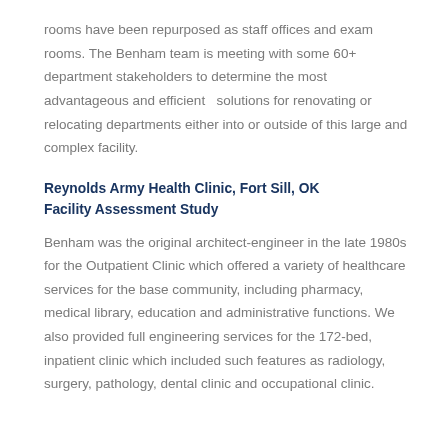rooms have been repurposed as staff offices and exam rooms. The Benham team is meeting with some 60+ department stakeholders to determine the most advantageous and efficient  solutions for renovating or relocating departments either into or outside of this large and complex facility.
Reynolds Army Health Clinic, Fort Sill, OK
Facility Assessment Study
Benham was the original architect-engineer in the late 1980s for the Outpatient Clinic which offered a variety of healthcare services for the base community, including pharmacy, medical library, education and administrative functions. We also provided full engineering services for the 172-bed, inpatient clinic which included such features as radiology, surgery, pathology, dental clinic and occupational clinic.